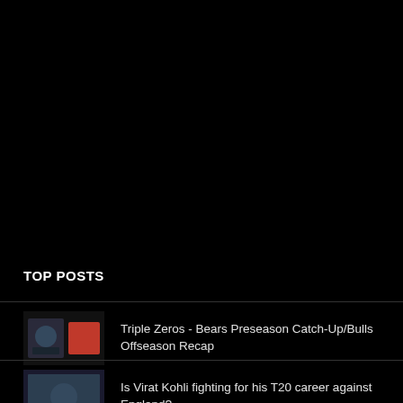TOP POSTS
Triple Zeros - Bears Preseason Catch-Up/Bulls Offseason Recap
Is Virat Kohli fighting for his T20 career against England?